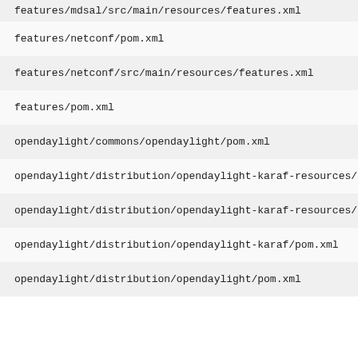features/mdsal/src/main/resources/features.xml
features/netconf/pom.xml
features/netconf/src/main/resources/features.xml
features/pom.xml
opendaylight/commons/opendaylight/pom.xml
opendaylight/distribution/opendaylight-karaf-resources/pom.xml
opendaylight/distribution/opendaylight-karaf-resources/src...
opendaylight/distribution/opendaylight-karaf/pom.xml
opendaylight/distribution/opendaylight/pom.xml